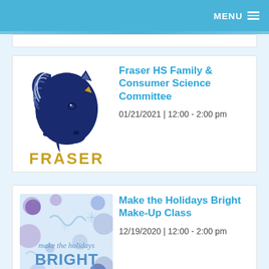MENU
[Figure (logo): Fraser High School mustang logo with blue horse and gold FRASER text]
Fraser HS Family & Consumer Science Committee
01/21/2021 | 12:00 - 2:00 pm
[Figure (illustration): Make the holidays BRIGHT promotional image with holiday decorations, blue/purple color scheme]
Make the Holidays Bright Make-Up Class
12/19/2020 | 12:00 - 2:00 pm